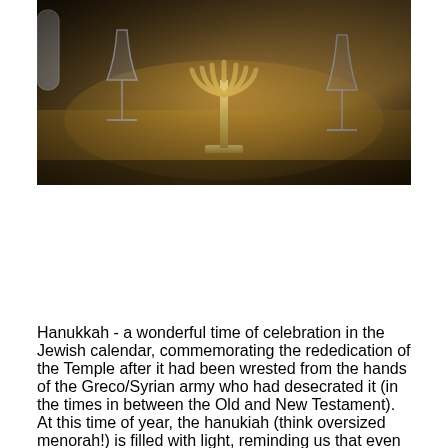[Figure (photo): A close-up photograph of a menorah (hanukiah) on a wooden table surface, with wine glasses visible in the background. The image has a warm, slightly dark tone with shallow depth of field.]
Hanukkah - a wonderful time of celebration in the Jewish calendar, commemorating the rededication of the Temple after it had been wrested from the hands of the Greco/Syrian army who had desecrated it (in the times in between the Old and New Testament). At this time of year, the hanukiah (think oversized menorah!) is filled with light, reminding us that even when the